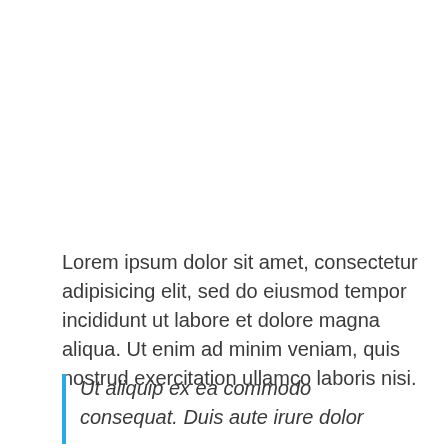Lorem ipsum dolor sit amet, consectetur adipisicing elit, sed do eiusmod tempor incididunt ut labore et dolore magna aliqua. Ut enim ad minim veniam, quis nostrud exercitation ullamco laboris nisi.
Ut aliquip ex ea commodo consequat. Duis aute irure dolor